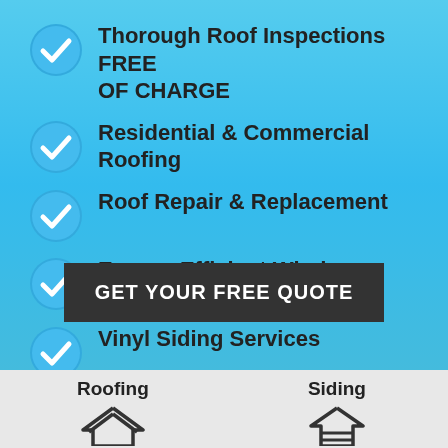Thorough Roof Inspections FREE OF CHARGE
Residential & Commercial Roofing
Roof Repair & Replacement
Energy-Efficient Window Replacement
Vinyl Siding Services
GET YOUR FREE QUOTE
Roofing
Siding